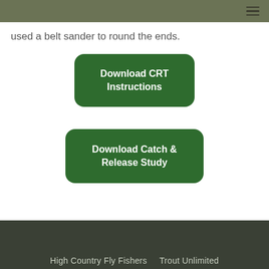☰
used a belt sander to round the ends.
[Figure (other): Green rounded rectangle button labeled 'Download CRT Instructions']
[Figure (other): Green rounded rectangle button labeled 'Download Catch & Release Study']
High Country Fly Fishers   Trout Unlimited